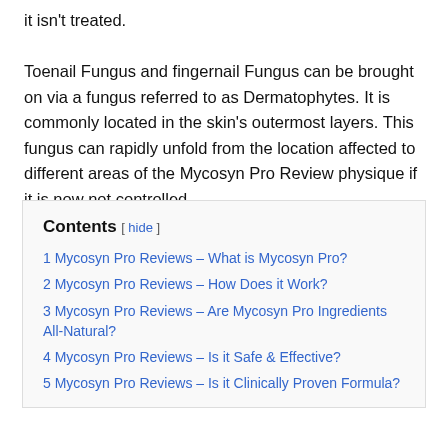it isn't treated.

Toenail Fungus and fingernail Fungus can be brought on via a fungus referred to as Dermatophytes. It is commonly located in the skin's outermost layers. This fungus can rapidly unfold from the location affected to different areas of the Mycosyn Pro Review physique if it is now not controlled.
1 Mycosyn Pro Reviews – What is Mycosyn Pro?
2 Mycosyn Pro Reviews – How Does it Work?
3 Mycosyn Pro Reviews – Are Mycosyn Pro Ingredients All-Natural?
4 Mycosyn Pro Reviews – Is it Safe & Effective?
5 Mycosyn Pro Reviews – Is it Clinically Proven Formula?